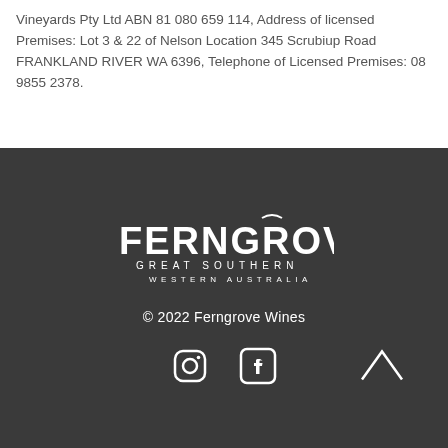Vineyards Pty Ltd ABN 81 080 659 114, Address of licensed Premises: Lot 3 & 22 of Nelson Location 345 Scrubiup Road FRANKLAND RIVER WA 6396, Telephone of Licensed Premises: 08 9855 2378.
[Figure (logo): Ferngrove Great Southern Western Australia logo in white on dark background]
© 2022 Ferngrove Wines